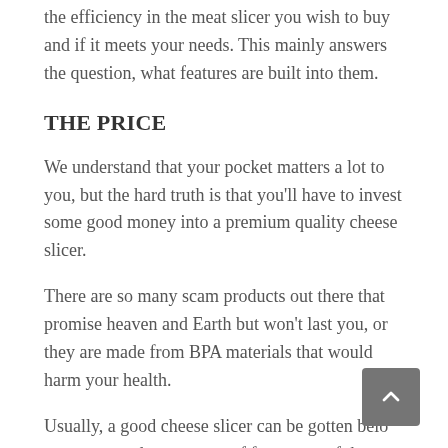the efficiency in the meat slicer you wish to buy and if it meets your needs. This mainly answers the question, what features are built into them.
THE PRICE
We understand that your pocket matters a lot to you, but the hard truth is that you'll have to invest some good money into a premium quality cheese slicer.
There are so many scam products out there that promise heaven and Earth but won't last you, or they are made from BPA materials that would harm your health.
Usually, a good cheese slicer can be gotten belo…, and as a matter of fact, most of the premium slicers